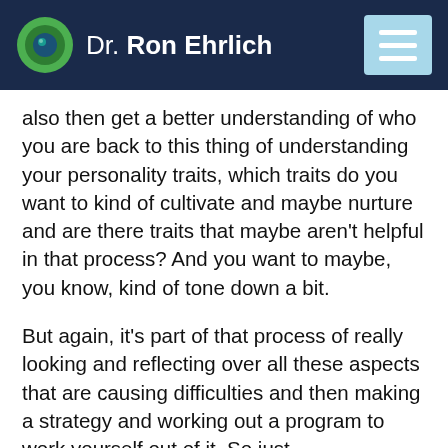Dr. Ron Ehrlich
also then get a better understanding of who you are back to this thing of understanding your personality traits, which traits do you want to kind of cultivate and maybe nurture and are there traits that maybe aren't helpful in that process? And you want to maybe, you know, kind of tone down a bit.
But again, it's part of that process of really looking and reflecting over all these aspects that are causing difficulties and then making a strategy and working out a program to work yourself out of it. So just